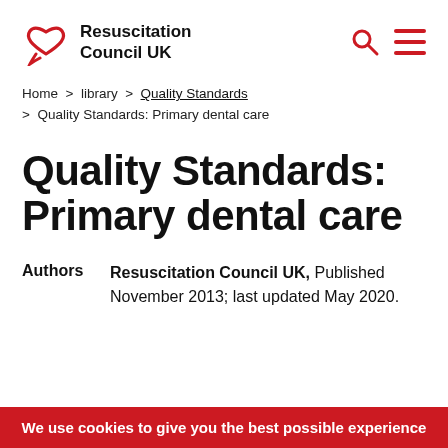[Figure (logo): Resuscitation Council UK logo with red heart and speech bubble icon, followed by bold text 'Resuscitation Council UK']
[Figure (other): Search icon (magnifying glass) and hamburger menu icon in red on the right side of the header]
Home > library > Quality Standards > Quality Standards: Primary dental care
Quality Standards: Primary dental care
Authors  Resuscitation Council UK, Published November 2013; last updated May 2020.
We use cookies to give you the best possible experience